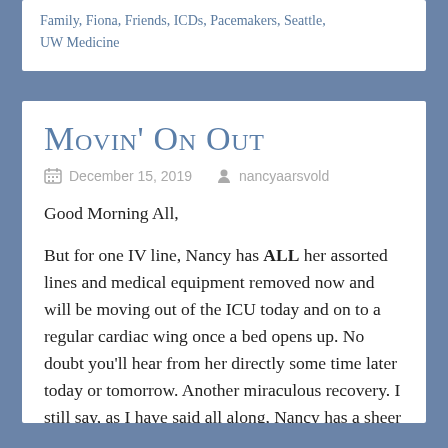Family, Fiona, Friends, ICDs, Pacemakers, Seattle, UW Medicine
Movin' On Out
December 15, 2019   nancyaarsvold
Good Morning All,
But for one IV line, Nancy has ALL her assorted lines and medical equipment removed now and will be moving out of the ICU today and on to a regular cardiac wing once a bed opens up.  No doubt you'll hear from her directly some time later today or tomorrow.  Another miraculous recovery.  I still say, as I have said all along, Nancy has a sheer will to live.